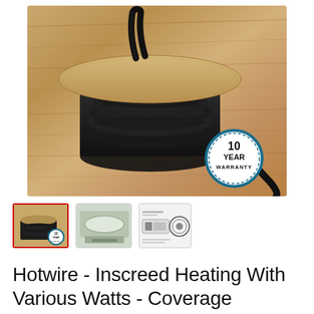[Figure (photo): Coiled black heating cable on a cardboard spool, sitting on a wood-grain surface. A circular badge in the lower right reads '10 YEAR WARRANTY'.]
[Figure (photo): Thumbnail 1 (selected, red border): same spool of black cable with warranty badge overlay.]
[Figure (photo): Thumbnail 2: bathtub or trough installation scene.]
[Figure (photo): Thumbnail 3: technical diagram / spec sheet showing cable components and a circular element.]
Hotwire - Inscreed Heating With Various Watts - Coverage